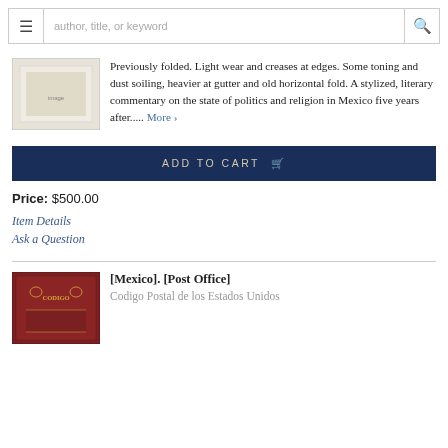author, title, or keyword
Previously folded. Light wear and creases at edges. Some toning and dust soiling, heavier at gutter and old horizontal fold. A stylized, literary commentary on the state of politics and religion in Mexico five years after..... More >
ADD TO CART
Price: $500.00
Item Details
Ask a Question
[Mexico]. [Post Office]
Codigo Postal de los Estados Unidos